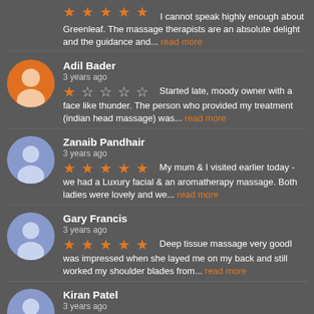I cannot speak highly enough about Greenleaf. The massage therapists are an absolute delight and the guidance and... read more
Adil Bader
3 years ago
Started late, moody owner with a face like thunder. The person who provided my treatment (indian head massage) was... read more
Zanaib Pandhair
3 years ago
My mum & I visited earlier today - we had a Luxury facial & an aromatherapy massage. Both ladies were lovely and we... read more
Gary Francis
3 years ago
Deep tissue massage very goodI was impressed when she layed me on my back and still worked my shoulder blades from... read more
Kiran Patel
3 years ago